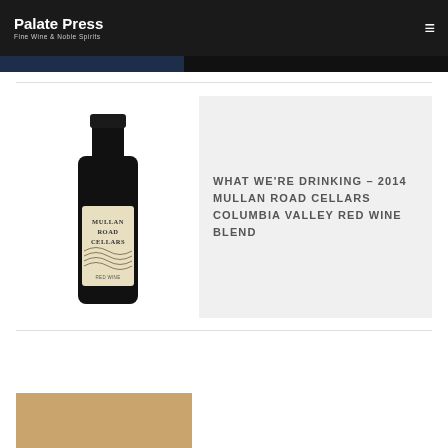Palate Press — Fine Wine & Noble Spirits
[Figure (photo): Dark wine bottle with Mullan Road Cellars label showing a topographic mountain landscape design. The label reads MULLAN ROAD CELLARS in large serif letters.]
WHAT WE'RE DRINKING – 2014 MULLAN ROAD CELLARS COLUMBIA VALLEY RED WINE BLEND